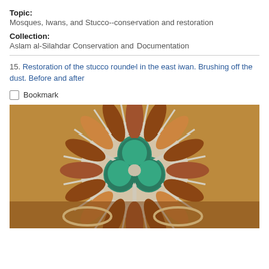Topic: Mosques, Iwans, and Stucco--conservation and restoration
Collection: Aslam al-Silahdar Conservation and Documentation
15. Restoration of the stucco roundel in the east iwan. Brushing off the dust. Before and after
Bookmark
[Figure (photo): Close-up photograph of a decorative stucco roundel with radiating petal/leaf shapes in terracotta/brown tones surrounding a central cluster of three teal/green trefoil shapes, separated by white plaster grouting, viewed from below.]